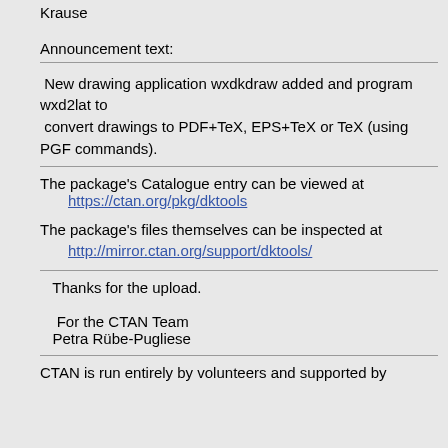Krause
Announcement text:
New drawing application wxdkdraw added and program wxd2lat to convert drawings to PDF+TeX, EPS+TeX or TeX (using PGF commands).
The package's Catalogue entry can be viewed at https://ctan.org/pkg/dktools
The package's files themselves can be inspected at http://mirror.ctan.org/support/dktools/
Thanks for the upload.

For the CTAN Team
Petra Rübe-Pugliese
CTAN is run entirely by volunteers and supported by